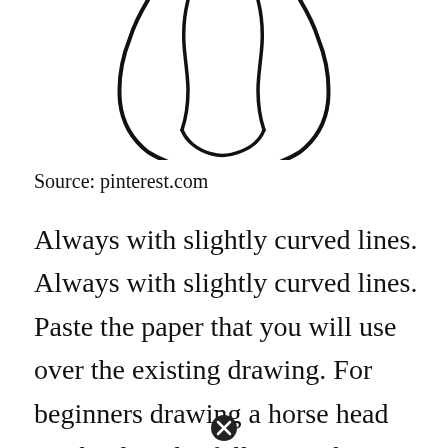[Figure (illustration): Partial pencil/ink sketch of a horse head outline, showing the lower portion with curved lines forming the chin, jaw, and two vertical lines for the nostrils/inner head structure. The drawing is cropped at the top.]
Source: pinterest.com
Always with slightly curved lines. Always with slightly curved lines. Paste the paper that you will use over the existing drawing. For beginners drawing a horse head can be done by following the outline in the example of a horse head drawing. Pin By Sherry Rymer On Animal Coloring Images Horse Coloring Pages Horse Coloring Ho...